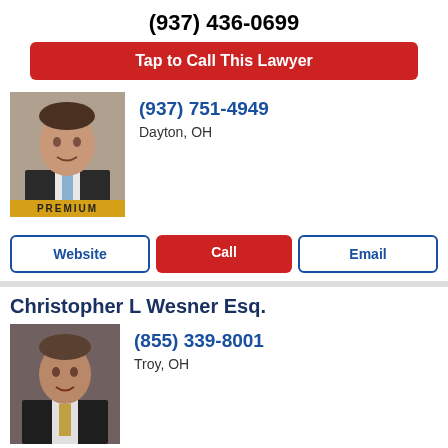(937) 436-0699
Tap to Call This Lawyer
(937) 751-4949
Dayton, OH
[Figure (photo): Headshot of a male lawyer in a dark suit with a blue tie, PREMIUM badge at bottom]
Website
Call
Email
Christopher L Wesner Esq.
(855) 339-8001
Troy, OH
[Figure (photo): Headshot of a male lawyer in a dark suit with a striped tie]
Email
Call
Profile